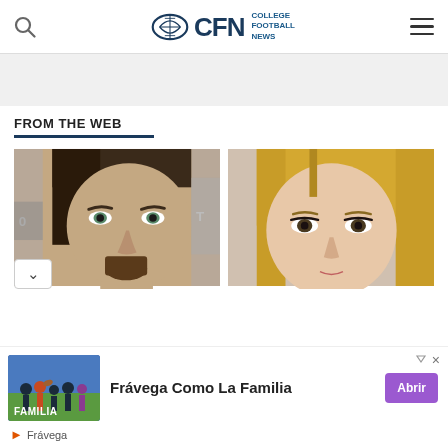CFN — College Football News
FROM THE WEB
[Figure (photo): Close-up portrait of a man with dark hair and goatee]
[Figure (photo): Close-up portrait of a blonde woman]
Frávega Como La Familia
Frávega